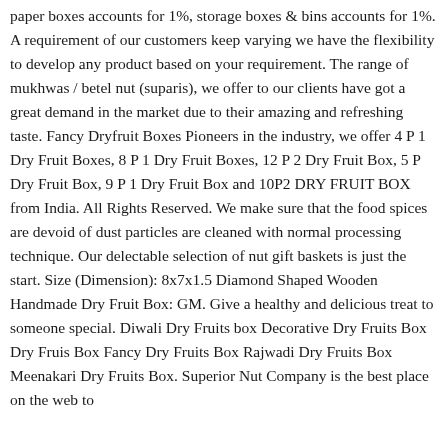paper boxes accounts for 1%, storage boxes & bins accounts for 1%. A requirement of our customers keep varying we have the flexibility to develop any product based on your requirement. The range of mukhwas / betel nut (suparis), we offer to our clients have got a great demand in the market due to their amazing and refreshing taste. Fancy Dryfruit Boxes Pioneers in the industry, we offer 4 P 1 Dry Fruit Boxes, 8 P 1 Dry Fruit Boxes, 12 P 2 Dry Fruit Box, 5 P Dry Fruit Box, 9 P 1 Dry Fruit Box and 10P2 DRY FRUIT BOX from India. All Rights Reserved. We make sure that the food spices are devoid of dust particles are cleaned with normal processing technique. Our delectable selection of nut gift baskets is just the start. Size (Dimension): 8x7x1.5 Diamond Shaped Wooden Handmade Dry Fruit Box: GM. Give a healthy and delicious treat to someone special. Diwali Dry Fruits box Decorative Dry Fruits Box Dry Fruis Box Fancy Dry Fruits Box Rajwadi Dry Fruits Box Meenakari Dry Fruits Box. Superior Nut Company is the best place on the web to